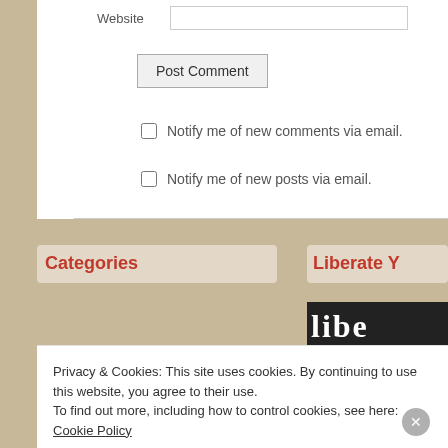Website
Post Comment
Notify me of new comments via email.
Notify me of new posts via email.
Categories
Select Category
Liberate Y
Privacy & Cookies: This site uses cookies. By continuing to use this website, you agree to their use.
To find out more, including how to control cookies, see here: Cookie Policy
Close and accept